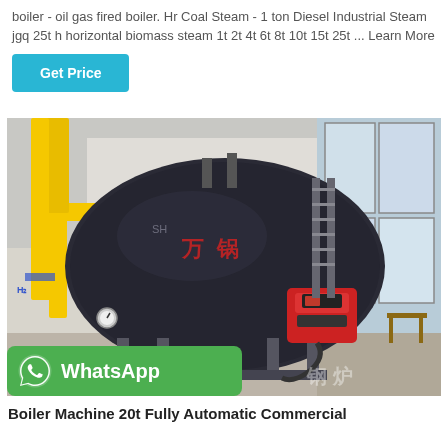boiler - oil gas fired boiler. Hr Coal Steam - 1 ton Diesel Industrial Steam jgq 25t h horizontal biomass steam 1t 2t 4t 6t 8t 10t 15t 25t ... Learn More
Get Price
[Figure (photo): Industrial boiler machine in a factory setting. A large dark-colored horizontal steam boiler with Chinese manufacturer markings, yellow gas pipes on the left, a red burner unit at the front, and a glass-walled room on the right. WhatsApp contact overlay in green at the bottom left of the image.]
Boiler Machine 20t Fully Automatic Commercial